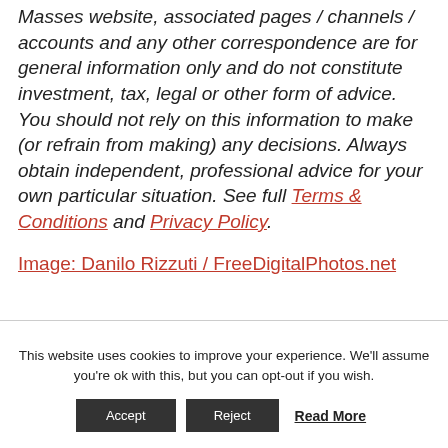The material in any email, the Money to the Masses website, associated pages / channels / accounts and any other correspondence are for general information only and do not constitute investment, tax, legal or other form of advice. You should not rely on this information to make (or refrain from making) any decisions. Always obtain independent, professional advice for your own particular situation. See full Terms & Conditions and Privacy Policy.
Image: Danilo Rizzuti / FreeDigitalPhotos.net
This website uses cookies to improve your experience. We'll assume you're ok with this, but you can opt-out if you wish.